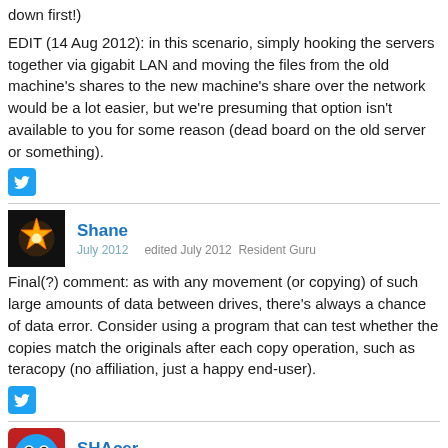down first!)
EDIT (14 Aug 2012): in this scenario, simply hooking the servers together via gigabit LAN and moving the files from the old machine's shares to the new machine's share over the network would be a lot easier, but we're presuming that option isn't available to you for some reason (dead board on the old server or something).
[Figure (other): Twitter share icon button, blue rounded square]
Shane
July 2012  edited July 2012  Resident Guru
Final(?) comment: as with any movement (or copying) of such large amounts of data between drives, there's always a chance of data error. Consider using a program that can test whether the copies match the originals after each copy operation, such as teracopy (no affiliation, just a happy end-user).
[Figure (other): Twitter share icon button, blue rounded square]
SHAcer
August 2012  Member
Shane: